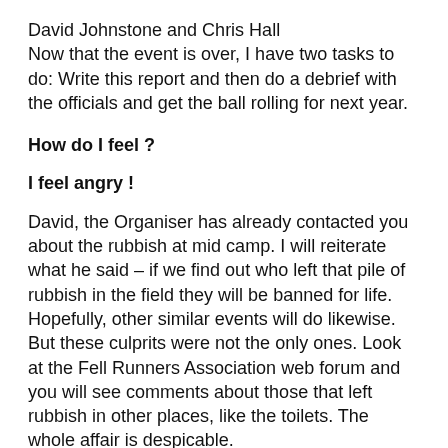David Johnstone and Chris Hall
Now that the event is over, I have two tasks to do: Write this report and then do a debrief with the officials and get the ball rolling for next year.
How do I feel ?
I feel angry !
David, the Organiser has already contacted you about the rubbish at mid camp. I will reiterate what he said – if we find out who left that pile of rubbish in the field they will be banned for life. Hopefully, other similar events will do likewise. But these culprits were not the only ones. Look at the Fell Runners Association web forum and you will see comments about those that left rubbish in other places, like the toilets. The whole affair is despicable.